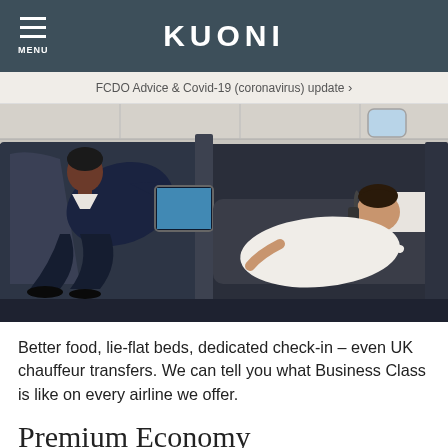KUONI
FCDO Advice & Covid-19 (coronavirus) update ›
[Figure (photo): Aerial view of two passengers reclining in lie-flat business class seats on an airplane, with a blue entertainment screen visible]
Better food, lie-flat beds, dedicated check-in – even UK chauffeur transfers. We can tell you what Business Class is like on every airline we offer.
Premium Economy